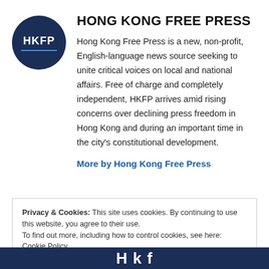[Figure (logo): HKFP circular logo — dark navy circle with white bold text 'HKFP' and a blue horizontal line beneath]
HONG KONG FREE PRESS
Hong Kong Free Press is a new, non-profit, English-language news source seeking to unite critical voices on local and national affairs. Free of charge and completely independent, HKFP arrives amid rising concerns over declining press freedom in Hong Kong and during an important time in the city's constitutional development.
More by Hong Kong Free Press
Privacy & Cookies: This site uses cookies. By continuing to use this website, you agree to their use.
To find out more, including how to control cookies, see here: Cookie Policy
Close and accept